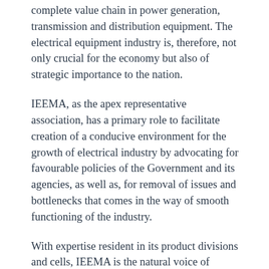complete value chain in power generation, transmission and distribution equipment. The electrical equipment industry is, therefore, not only crucial for the economy but also of strategic importance to the nation.
IEEMA, as the apex representative association, has a primary role to facilitate creation of a conducive environment for the growth of electrical industry by advocating for favourable policies of the Government and its agencies, as well as, for removal of issues and bottlenecks that comes in the way of smooth functioning of the industry.
With expertise resident in its product divisions and cells, IEEMA is the natural voice of Indian electrical industry and plays a crucial policy advocacy role with the government and its agencies. The